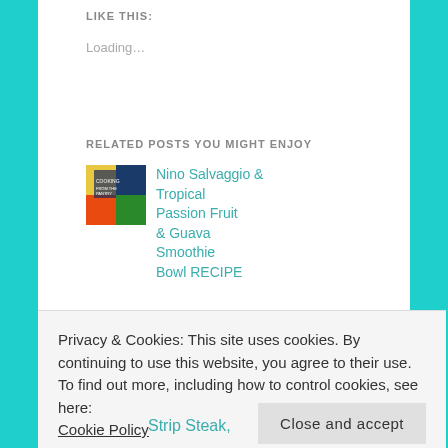LIKE THIS:
Loading...
RELATED POSTS YOU MIGHT ENJOY
Nino Salvaggio & Tropical Passion Fruit & Guava Smoothie Bowl RECIPE
Tried It Out
Privacy & Cookies: This site uses cookies. By continuing to use this website, you agree to their use.
To find out more, including how to control cookies, see here: Cookie Policy
Close and accept
Strip Steak,